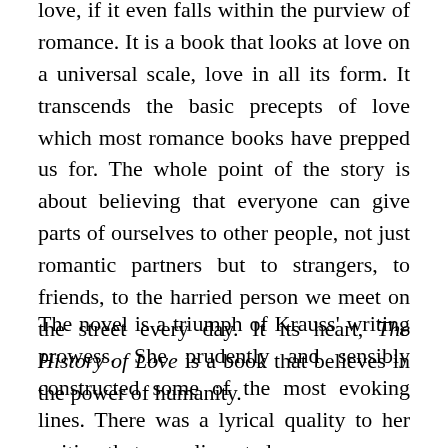love, if it even falls within the purview of romance. It is a book that looks at love on a universal scale, love in all its form. It transcends the basic precepts of love which most romance books have prepped us for. The whole point of the story is about believing that everyone can give parts of ourselves to other people, not just romantic partners but to strangers, to friends, to the harried person we meet on the street every day. It its heart, The History of Love is a book that believes in the power of humanity.
The novel is a triumph of Krauss' writing prowess. She prudently and sensibly constructed some of the most evoking lines. There was a lyrical quality to her writing that complimented